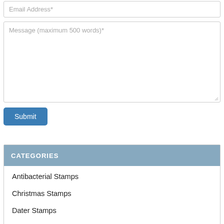Email Address*
Message (maximum 500 words)*
Submit
CATEGORIES
Antibacterial Stamps
Christmas Stamps
Dater Stamps
Delivery Information
DIY Stamps
Eco Friendly Stamps